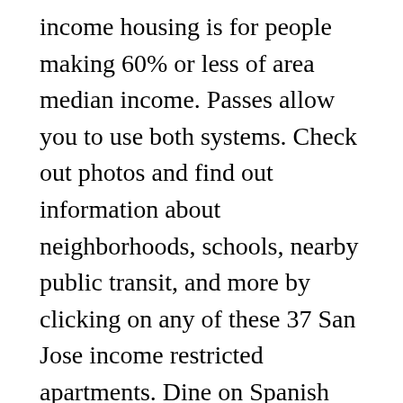income housing is for people making 60% or less of area median income. Passes allow you to use both systems. Check out photos and find out information about neighborhoods, schools, nearby public transit, and more by clicking on any of these 37 San Jose income restricted apartments. Dine on Spanish tapas at Picassoâs, sushi and sashimi at Fuji Sushi or authentic Mexican food at La Victoria Taqueria. Check out photos and find out information about neighborhoods, schools, nearby public transit, and more by clicking on any of these 0 San Jose income restricted apartments. San Jose Wheelchair Accessible Apartments. Please try again later. Email me listings and apartment related info. Please try again. You have set